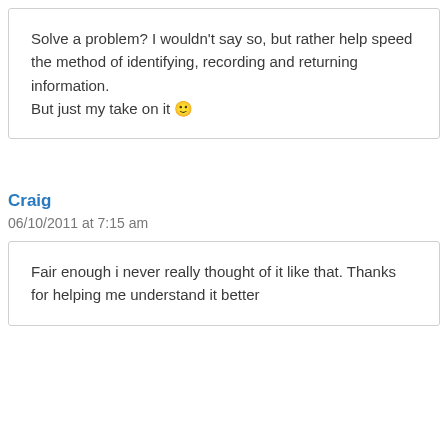Solve a problem? I wouldn't say so, but rather help speed the method of identifying, recording and returning information.

But just my take on it 🙂
Craig
06/10/2011 at 7:15 am
Fair enough i never really thought of it like that. Thanks for helping me understand it better